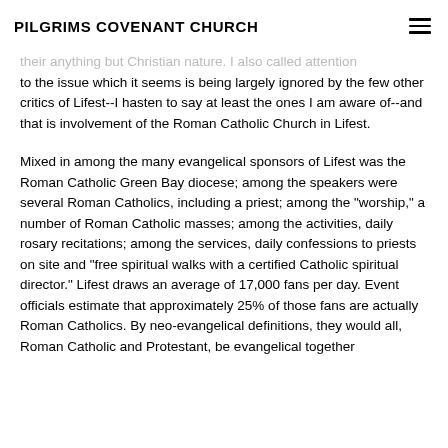PILGRIMS COVENANT CHURCH
their anything but Christian nature. I also called attention to the issue which it seems is being largely ignored by the few other critics of Lifest--I hasten to say at least the ones I am aware of--and that is involvement of the Roman Catholic Church in Lifest.
Mixed in among the many evangelical sponsors of Lifest was the Roman Catholic Green Bay diocese; among the speakers were several Roman Catholics, including a priest; among the "worship," a number of Roman Catholic masses; among the activities, daily rosary recitations; among the services, daily confessions to priests on site and "free spiritual walks with a certified Catholic spiritual director." Lifest draws an average of 17,000 fans per day. Event officials estimate that approximately 25% of those fans are actually Roman Catholics. By neo-evangelical definitions, they would all, Roman Catholic and Protestant, be evangelical together